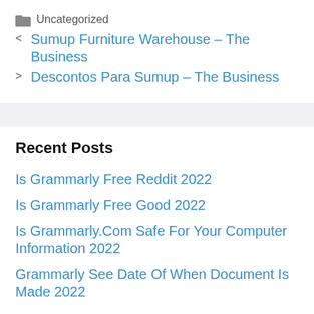Uncategorized
< Sumup Furniture Warehouse – The Business
> Descontos Para Sumup – The Business
Recent Posts
Is Grammarly Free Reddit 2022
Is Grammarly Free Good 2022
Is Grammarly.Com Safe For Your Computer Information 2022
Grammarly See Date Of When Document Is Made 2022